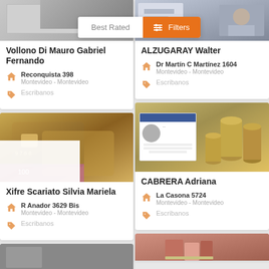[Figure (screenshot): App UI: Best Rated / Filters top bar with two listing cards in a grid view]
Best Rated
Filters
Vollono Di Mauro Gabriel Fernando
Reconquista 398
Montevideo - Montevideo
Escribanos
ALZUGARAY Walter
Dr Martín C Martínez 1604
Montevideo - Montevideo
Escribanos
Xifre Scariato Silvia Mariela
R Anador 3629 Bis
Montevideo - Montevideo
Escribanos
CABRERA Adriana
La Casona 5724
Montevideo - Montevideo
Escribanos